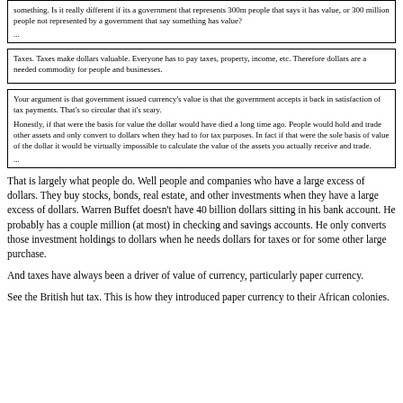something. Is it really different if its a government that represents 300m people that says it has value, or 300 million people not represented by a government that say something has value?
...
Taxes. Taxes make dollars valuable. Everyone has to pay taxes, property, income, etc. Therefore dollars are a needed commodity for people and businesses.
Your argument is that government issued currency's value is that the government accepts it back in satisfaction of tax payments. That's so circular that it's scary.

Honestly, if that were the basis for value the dollar would have died a long time ago. People would hold and trade other assets and only convert to dollars when they had to for tax purposes. In fact if that were the sole basis of value of the dollar it would be virtually impossible to calculate the value of the assets you actually receive and trade.
...
That is largely what people do. Well people and companies who have a large excess of dollars. They buy stocks, bonds, real estate, and other investments when they have a large excess of dollars. Warren Buffet doesn't have 40 billion dollars sitting in his bank account. He probably has a couple million (at most) in checking and savings accounts. He only converts those investment holdings to dollars when he needs dollars for taxes or for some other large purchase.
And taxes have always been a driver of value of currency, particularly paper currency.
See the British hut tax. This is how they introduced paper currency to their African colonies.